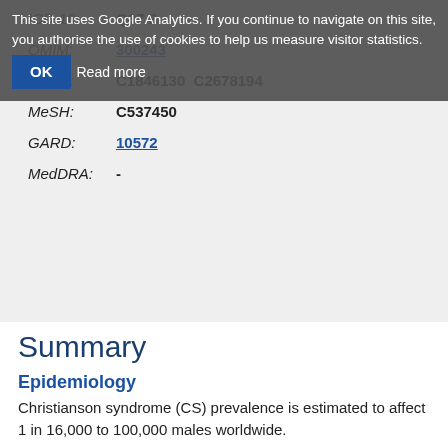This site uses Google Analytics. If you continue to navigate on this site, you authorise the use of cookies to help us measure visitor statistics. OK  Read more
| ICD-10: | Q87.8 |
| OMIM: | 300243 |
| UMLS: | C1846130  C2678194 |
| MeSH: | C537450 |
| GARD: | 10572 |
| MedDRA: | - |
Summary
Epidemiology
Christianson syndrome (CS) prevalence is estimated to affect 1 in 16,000 to 100,000 males worldwide.
Clinical description